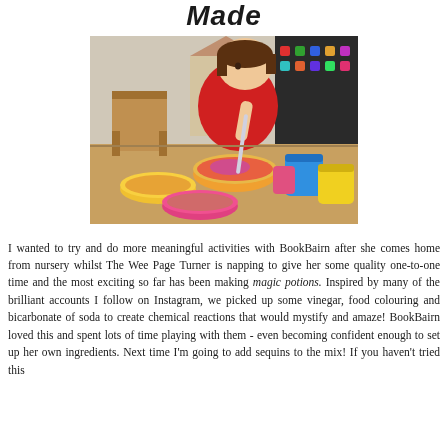Made
[Figure (photo): A young girl in a red Minnie Mouse pyjama top sitting at a wooden table, stirring colourful bowls and cups containing liquids — a magic potions activity. Wooden toy furniture visible in the background along with a magnetic letter board.]
I wanted to try and do more meaningful activities with BookBairn after she comes home from nursery whilst The Wee Page Turner is napping to give her some quality one-to-one time and the most exciting so far has been making magic potions. Inspired by many of the brilliant accounts I follow on Instagram, we picked up some vinegar, food colouring and bicarbonate of soda to create chemical reactions that would mystify and amaze! BookBairn loved this and spent lots of time playing with them - even becoming confident enough to set up her own ingredients. Next time I'm going to add sequins to the mix! If you haven't tried this